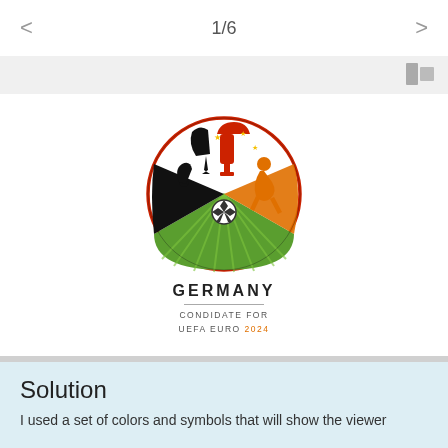< 1/6 >
[Figure (logo): Germany candidate for UEFA EURO 2024 logo: circular emblem with black, red, green, and orange sections featuring a trophy, football, and celebratory figures. Text reads GERMANY / CONDIDATE FOR / UEFA EURO 2024]
Solution
I used a set of colors and symbols that will show the viewer